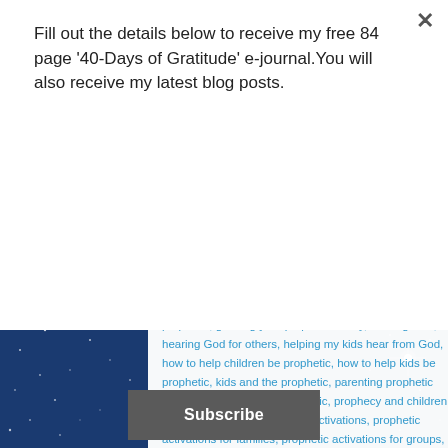Fill out the details below to receive my free 84 page '40-Days of Gratitude' e-journal.You will also receive my latest blog posts.
Subscribe
prophetic, growing your prophetic ability, hearing God, hearing God for others, helping my kids hear from God, how to help children be prophetic, how to help kids be prophetic, kids and the prophetic, parenting prophetic children, practicing the prophetic, prophecy and children, prophecy and kids, prophetic activations, prophetic activations for families, prophetic activations for groups, Prophetic activations for kids, prophetic kids, why practice the prophetic
Protected: Group Activations